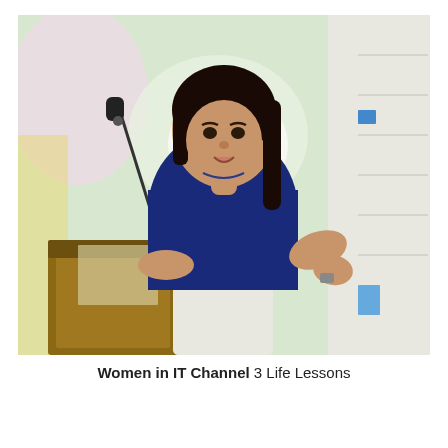[Figure (photo): A young woman with long dark hair wearing a navy blue t-shirt and white pants stands at a wooden podium with a microphone, gesturing with both hands as if presenting or speaking. The background is blurred with green trees and a white board/wall visible on the right side.]
Women in IT Channel  3 Life Lessons